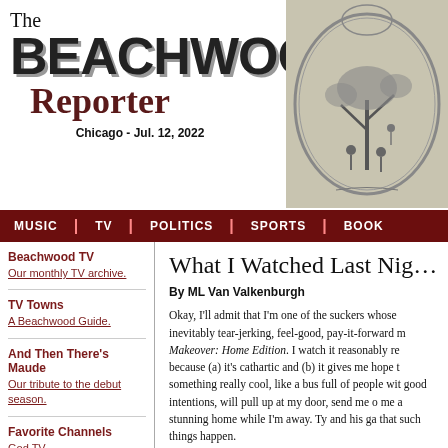The Beachwood Reporter - Chicago - Jul. 12, 2022
[Figure (illustration): Vintage engraving illustration on right side of header showing pastoral scene with figures and ornate oval frame]
MUSIC | TV | POLITICS | SPORTS | BOOK
Beachwood TV
Our monthly TV archive.
TV Towns
A Beachwood Guide.
And Then There's Maude
Our tribute to the debut season.
Favorite Channels
God TV
Gay TV
As Seen On TV
Television Without Pity
Museum Of Classic Chicago TV
NASA TV
What I Watched Last Nig…
By ML Van Valkenburgh
Okay, I'll admit that I'm one of the suckers whose inevitably tear-jerking, feel-good, pay-it-forward move Makeover: Home Edition. I watch it reasonably re because (a) it's cathartic and (b) it gives me hope t something really cool, like a bus full of people wit good intentions, will pull up at my door, send me o me a stunning home while I'm away. Ty and his ga that such things happen.
Unfortunately, it's not going to happen to me. At le See, this year, they're doing it a little differently, a home in each state. And on Sunday night, well, the Chicago, in Lawndale, "giving a family a second c
Seems Geno Noyola and his wife Melinda finally move out of Geno's grandma's attic (with their six house, only they got conned and the house was a c were stuck back in the roach-infested attic. Ge